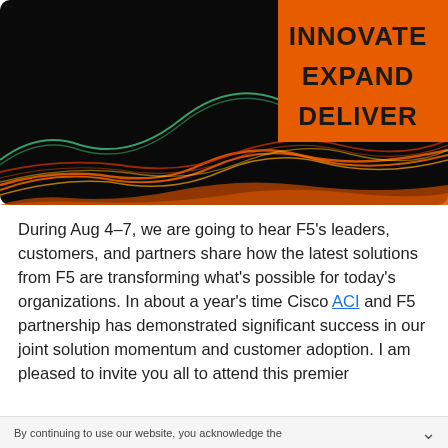[Figure (illustration): Dark background with colorful wave-like flowing lines in orange, red, yellow and green colors. An orange rectangle in the upper-right area contains bold black text reading 'INNOVATE EXPAND DELIVER'.]
During Aug 4-7, we are going to hear F5's leaders, customers, and partners share how the latest solutions from F5 are transforming what's possible for today's organizations. In about a year's time Cisco ACI and F5 partnership has demonstrated significant success in our joint solution momentum and customer adoption. I am pleased to invite you all to attend this premier
By continuing to use our website, you acknowledge the